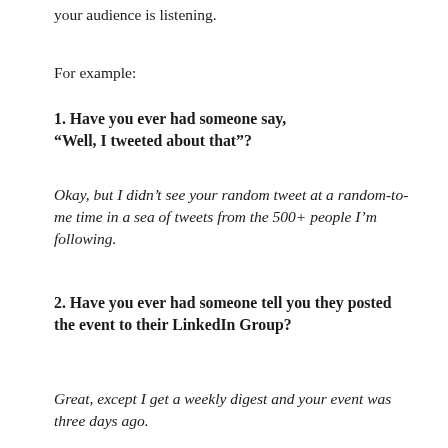your audience is listening.
For example:
1. Have you ever had someone say, “Well, I tweeted about that”?
Okay, but I didn’t see your random tweet at a random-to-me time in a sea of tweets from the 500+ people I’m following.
2. Have you ever had someone tell you they posted the event to their LinkedIn Group?
Great, except I get a weekly digest and your event was three days ago.